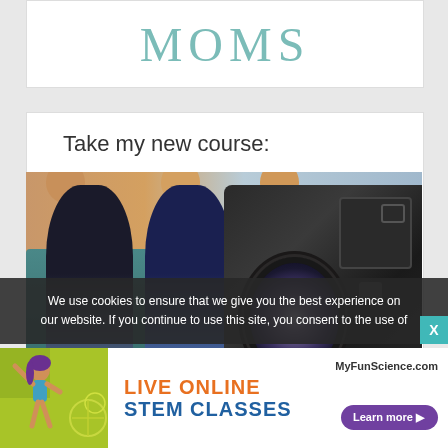MOMS
Take my new course:
[Figure (photo): Three women sitting on a teal couch holding mugs, with a camera in the foreground filming them]
We use cookies to ensure that we give you the best experience on our website. If you continue to use this site, you consent to the use of
[Figure (illustration): Advertisement banner for MyFunScience.com Live Online STEM Classes with a person figure on green/yellow background and Learn more button]